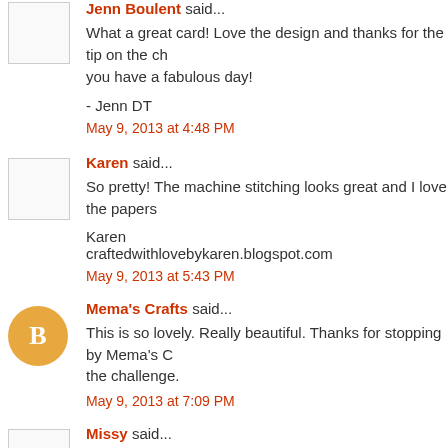Jenn Boulent said... What a great card! Love the design and thanks for the tip on the ch... you have a fabulous day!
- Jenn DT
May 9, 2013 at 4:48 PM
Karen said... So pretty! The machine stitching looks great and I love the papers...
Karen
craftedwithlovebykaren.blogspot.com
May 9, 2013 at 5:43 PM
Mema's Crafts said... This is so lovely. Really beautiful. Thanks for stopping by Mema's C... the challenge.
May 9, 2013 at 7:09 PM
Missy said... This is so pretty Cheryl I love the stitching and row of hexagons!!